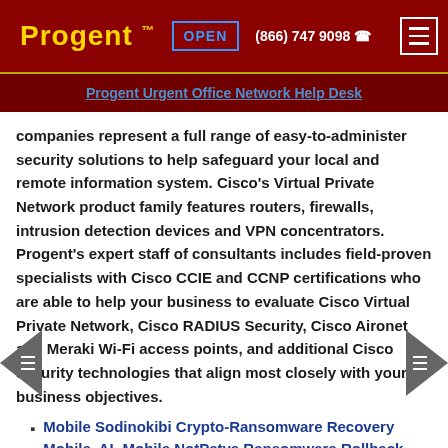Progent™ | OPEN | (866) 747 9098
Progent Urgent Office Network Help Desk
companies represent a full range of easy-to-administer security solutions to help safeguard your local and remote information system. Cisco's Virtual Private Network product family features routers, firewalls, intrusion detection devices and VPN concentrators. Progent's expert staff of consultants includes field-proven specialists with Cisco CCIE and CCNP certifications who are able to help your business to evaluate Cisco Virtual Private Network, Cisco RADIUS Security, Cisco Aironet and Meraki Wi-Fi access points, and additional Cisco security technologies that align most closely with your business objectives.
Mobile Sodinokibi Crypto-Ransomware Recovery Mobile, AL Mobile NotPetya Ransomware Rollback
Mobile Teleworkers Help Desk Solutions Guidance Mobile Bay, Alabama Mobile Work at Home Employees Help